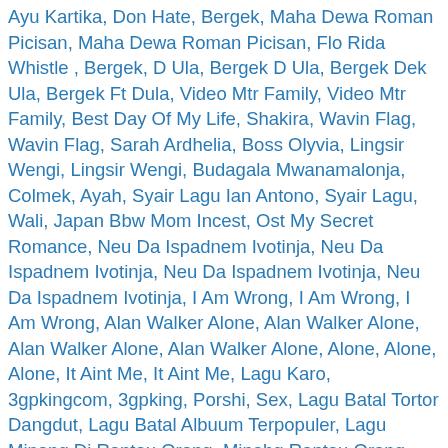Ayu Kartika, Don Hate, Bergek, Maha Dewa Roman Picisan, Maha Dewa Roman Picisan, Flo Rida Whistle , Bergek, D Ula, Bergek D Ula, Bergek Dek Ula, Bergek Ft Dula, Video Mtr Family, Video Mtr Family, Best Day Of My Life, Shakira, Wavin Flag, Wavin Flag, Sarah Ardhelia, Boss Olyvia, Lingsir Wengi, Lingsir Wengi, Budagala Mwanamalonja, Colmek, Ayah, Syair Lagu Ian Antono, Syair Lagu, Wali, Japan Bbw Mom Incest, Ost My Secret Romance, Neu Da Ispadnem Ivotinja, Neu Da Ispadnem Ivotinja, Neu Da Ispadnem Ivotinja, Neu Da Ispadnem Ivotinja, I Am Wrong, I Am Wrong, I Am Wrong, Alan Walker Alone, Alan Walker Alone, Alan Walker Alone, Alan Walker Alone, Alone, Alone, Alone, It Aint Me, It Aint Me, Lagu Karo, 3gpkingcom, 3gpking, Porshi, Sex, Lagu Batal Tortor Dangdut, Lagu Batal Albuum Terpopuler, Lagu Minang Di Rantau Orang, Minabg Rantau Orang, Patah Hatii, Lagubatak Songon Aek Tu Borss, Lagubatak Cilik, Lagubatak Sedih Jojo, Lagu Batak Buat Orang Sedih, Tortor Dangdut Terpopuler 2017, Cinta Ku Bukan Main Main, Cinta Tak Di Restui, Lagu Malaysia Cinta Tak Di Restui, Lagu Malaysia Cinta Tak Di Restui, Lagu Malaysia Bukan Aku Tak Cinta, Lagu, Lagu Melayu, Lagu Malaysia Sayup Sayup Ku Mendengar, Lagu Malaysia Sayup Sayup Ku Mendengar, Lagu Malaysia Sayup Sayup Ku Mendengar, Lagu Malaysia Hidup Baru, Lagu Minang Terbaru, Lagu Minang Merantau, Lagu Minang Rantau Orang, Lagu Minang Sedih Anak,